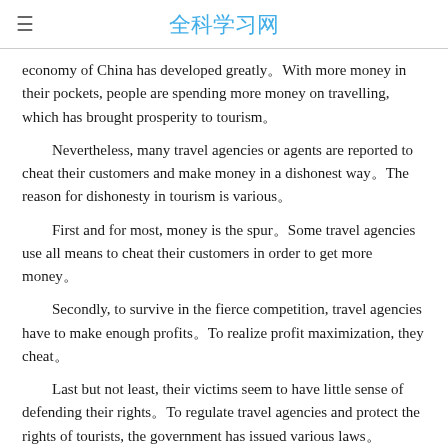全科学习网
economy of China has developed greatly。With more money in their pockets, people are spending more money on travelling, which has brought prosperity to tourism。
Nevertheless, many travel agencies or agents are reported to cheat their customers and make money in a dishonest way。The reason for dishonesty in tourism is various。
First and for most, money is the spur。Some travel agencies use all means to cheat their customers in order to get more money。
Secondly, to survive in the fierce competition, travel agencies have to make enough profits。To realize profit maximization, they cheat。
Last but not least, their victims seem to have little sense of defending their rights。To regulate travel agencies and protect the rights of tourists, the government has issued various laws。